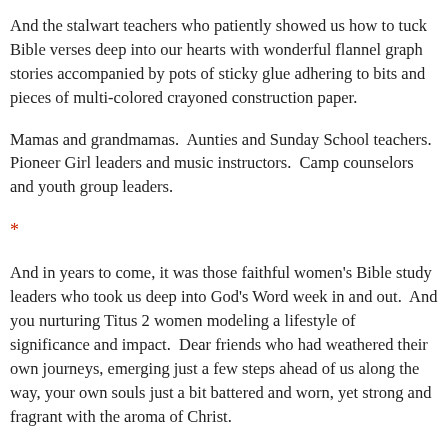eager hearts and little lips to sing sweet Jesus songs that remain with us to this day.
And the stalwart teachers who patiently showed us how to tuck Bible verses deep into our hearts with wonderful flannel graph stories accompanied by pots of sticky glue adhering to bits and pieces of multi-colored crayoned construction paper.
Mamas and grandmamas.  Aunties and Sunday School teachers.  Pioneer Girl leaders and music instructors.  Camp counselors and youth group leaders.
*
And in years to come, it was those faithful women's Bible study leaders who took us deep into God's Word week in and out.  And you nurturing Titus 2 women modeling a lifestyle of significance and impact.  Dear friends who had weathered their own journeys, emerging just a few steps ahead of us along the way, your own souls just a bit battered and worn, yet strong and fragrant with the aroma of Christ.